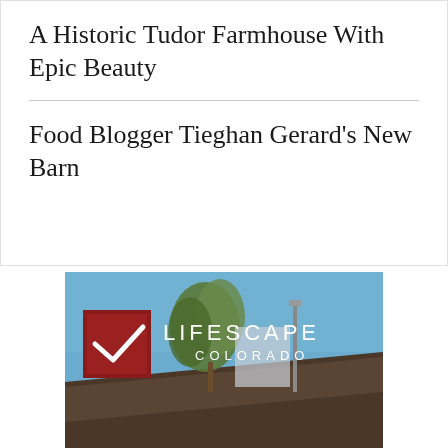A Historic Tudor Farmhouse With Epic Beauty
Food Blogger Tieghan Gerard's New Barn
[Figure (logo): Lifescape Colorado advertisement banner showing the logo with a red diamond/chevron icon and the text LIFESCAPE COLORADO, with a background photo of a building roofline, trees against a blue sky]